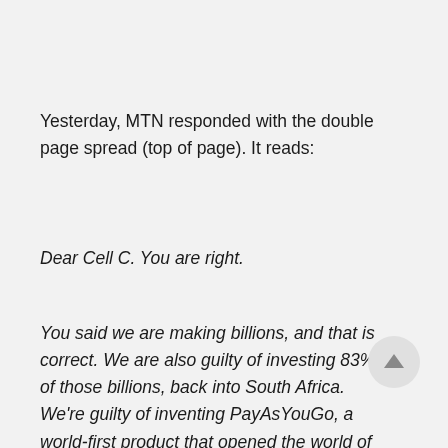Yesterday, MTN responded with the double page spread (top of page). It reads:
Dear Cell C. You are right.
You said we are making billions, and that is correct. We are also guilty of investing 83% of those billions, back into South Africa. We're guilty of inventing PayAsYouGo, a world-first product that opened the world of cellular connectivity